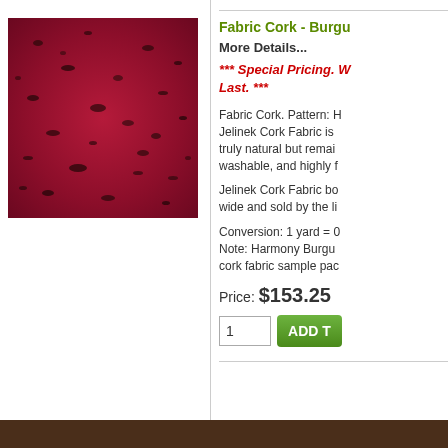[Figure (photo): Product photo of Fabric Cork in Burgundy/Harmony color — deep red/crimson textured cork fabric with dark speckles]
Fabric Cork - Burgu...
More Details...
*** Special Pricing. W... Last. ***
Fabric Cork. Pattern: H... Jelinek Cork Fabric is... truly natural but remai... washable, and highly f...
Jelinek Cork Fabric bo... wide and sold by the li...
Conversion: 1 yard = 0... Note: Harmony Burgu... cork fabric sample pac...
Price: $153.25